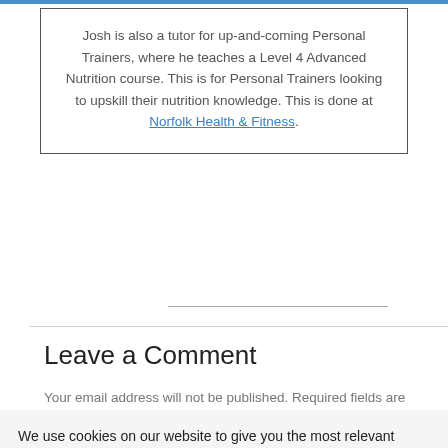Josh is also a tutor for up-and-coming Personal Trainers, where he teaches a Level 4 Advanced Nutrition course. This is for Personal Trainers looking to upskill their nutrition knowledge. This is done at Norfolk Health & Fitness.
Leave a Comment
Your email address will not be published. Required fields are
We use cookies on our website to give you the most relevant experience by remembering your preferences and repeat visits. By clicking “Accept”, you consent to the use of ALL the cookies.